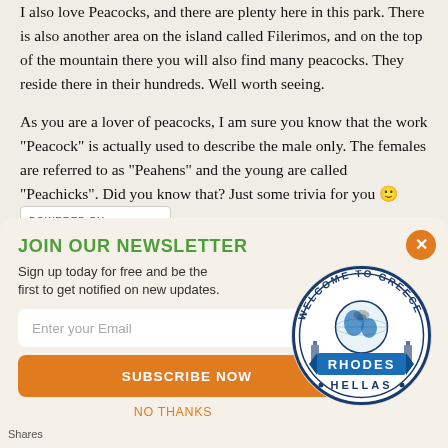I also love Peacocks, and there are plenty here in this park. There is also another area on the island called Filerimos, and on the top of the mountain there you will also find many peacocks. They reside there in their hundreds. Well worth seeing.
As you are a lover of peacocks, I am sure you know that the work “Peacock” is actually used to describe the male only. The females are referred to as “Peahens” and the young are called “Peachicks”. Did you know that? Just some trivia for you 🙂
[Figure (logo): POWERED BY SUMO badge]
JOIN OUR NEWSLETTER
Sign up today for free and be the first to get notified on new updates.
Enter your Email
SUBSCRIBE NOW
[Figure (logo): Welcome to Greece – Rhodes Hellas circular stamp logo]
NO THANKS
Shares